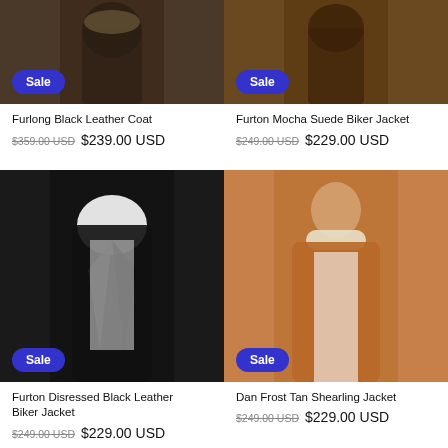[Figure (photo): Furlong Black Leather Coat product photo with Sale badge]
[Figure (photo): Furton Mocha Suede Biker Jacket product photo with Sale badge]
Furlong Black Leather Coat
$359.00 USD  $239.00 USD
Furton Mocha Suede Biker Jacket
$249.00 USD  $229.00 USD
[Figure (photo): Furton Disressed Black Leather Biker Jacket product photo with Sale badge]
[Figure (photo): Dan Frost Tan Shearling Jacket product photo with Sale badge]
Furton Disressed Black Leather Biker Jacket
$249.00 USD  $229.00 USD
Dan Frost Tan Shearling Jacket
$249.00 USD  $229.00 USD